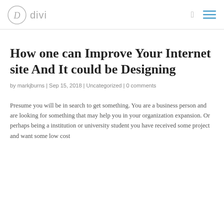divi
How one can Improve Your Internet site And It could be Designing
by markjburns | Sep 15, 2018 | Uncategorized | 0 comments
Presume you will be in search to get something. You are a business person and are looking for something that may help you in your organization expansion. Or perhaps being a institution or university student you have received some project and want some low cost